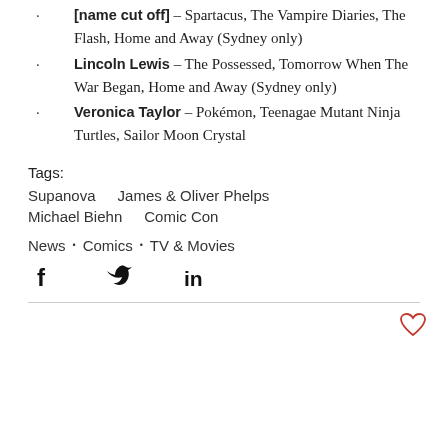· [name cut off] – Spartacus, The Vampire Diaries, The Flash, Home and Away (Sydney only)
· Lincoln Lewis – The Possessed, Tomorrow When The War Began, Home and Away (Sydney only)
· Veronica Taylor – Pokémon, Teenagae Mutant Ninja Turtles, Sailor Moon Crystal
Tags:
Supanova   James & Oliver Phelps
Michael Biehn   Comic Con
News • Comics • TV & Movies
[Figure (infographic): Social share icons: Facebook (f), Twitter (bird), LinkedIn (in)]
[Figure (illustration): Heart icon (like button) in red outline, bottom right]